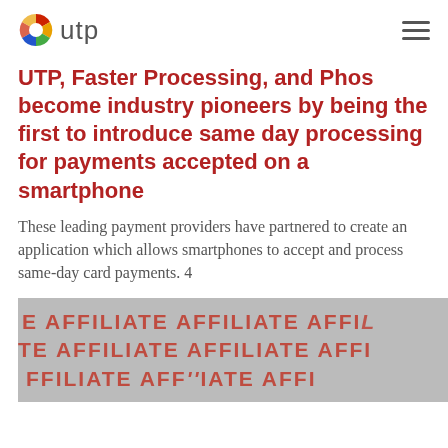utp
UTP, Faster Processing, and Phos become industry pioneers by being the first to introduce same day processing for payments accepted on a smartphone
These leading payment providers have partnered to create an application which allows smartphones to accept and process same-day card payments. 4
[Figure (photo): A hand with a phone accepting payments, overlaid with repeating AFFILIATE text in red on a grey/monochrome background]